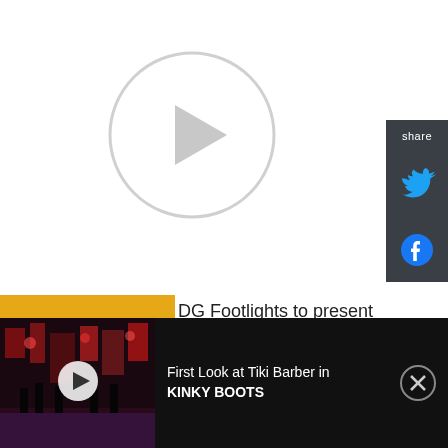[Figure (other): Video player placeholder with circular play button on white background]
[Figure (other): Share sidebar with Twitter and Facebook icons on dark grey background]
[Figure (other): Article thumbnail: yellow/gold background with 'Dramatists Guild' label and 'SOUTHWEST' text in white]
DG Footlights to present a reading of the full-length play The Jewish
[Figure (other): Bottom video bar: dark stage photo with play button, title 'First Look at Tiki Barber in KINKY BOOTS', close button]